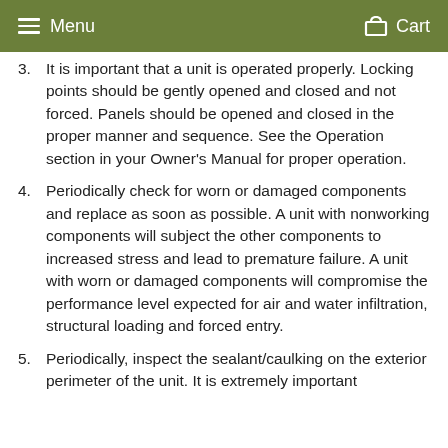Menu  Cart
3. It is important that a unit is operated properly. Locking points should be gently opened and closed and not forced. Panels should be opened and closed in the proper manner and sequence. See the Operation section in your Owner's Manual for proper operation.
4. Periodically check for worn or damaged components and replace as soon as possible. A unit with nonworking components will subject the other components to increased stress and lead to premature failure. A unit with worn or damaged components will compromise the performance level expected for air and water infiltration, structural loading and forced entry.
5. Periodically, inspect the sealant/caulking on the exterior perimeter of the unit. It is extremely important